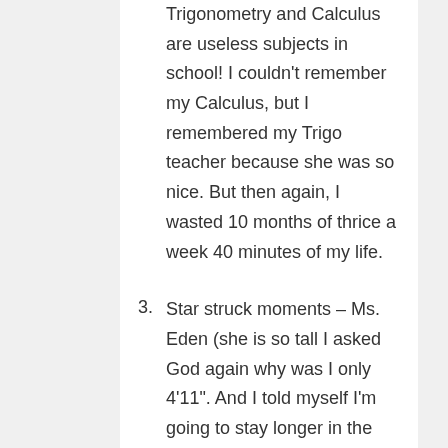Trigonometry and Calculus are useless subjects in school! I couldn't remember my Calculus, but I remembered my Trigo teacher because she was so nice. But then again, I wasted 10 months of thrice a week 40 minutes of my life.
3. Star struck moments – Ms. Eden (she is so tall I asked God again why was I only 4'11". And I told myself I'm going to stay longer in the magazine section in a famous grocery store nearby). Jay Castillo (the Foreclosure Philippines guy! I wanted to bow